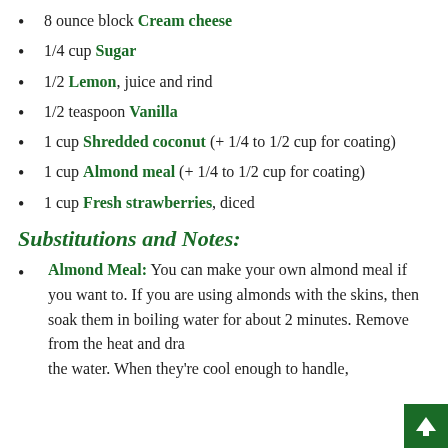8 ounce block Cream cheese
1/4 cup Sugar
1/2 Lemon, juice and rind
1/2 teaspoon Vanilla
1 cup Shredded coconut (+ 1/4 to 1/2 cup for coating)
1 cup Almond meal (+ 1/4 to 1/2 cup for coating)
1 cup Fresh strawberries, diced
Substitutions and Notes:
Almond Meal: You can make your own almond meal if you want to. If you are using almonds with the skins, then soak them in boiling water for about 2 minutes. Remove from the heat and drain the water. When they're cool enough to handle,